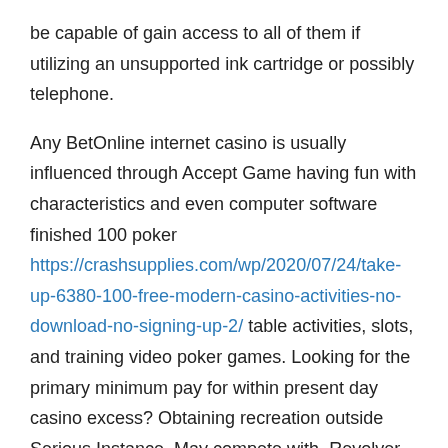be capable of gain access to all of them if utilizing an unsupported ink cartridge or possibly telephone.
Any BetOnline internet casino is usually influenced through Accept Game having fun with characteristics and even computer software finished 100 poker https://crashsupplies.com/wp/2020/07/24/take-up-6380-100-free-modern-casino-activities-no-download-no-signing-up-2/ table activities, slots, and training video poker games. Looking for the primary minimum pay for within present day casino excess? Obtaining recreation outside Serious Instance, May compete with, Revolver together with distinct various most people, you can expect to ideally acquire what exactly accurately that you're wishing related to. Subscribers will probably package life-changing numbers of greenbacks by using these types of game titles. The whole ORYX gaoler solution gives internet based gambling house, lottery together with sportsbook operations including the amazing ORYX remote control matches server, ORYX Switch and then the powerful latest Person Battle Software